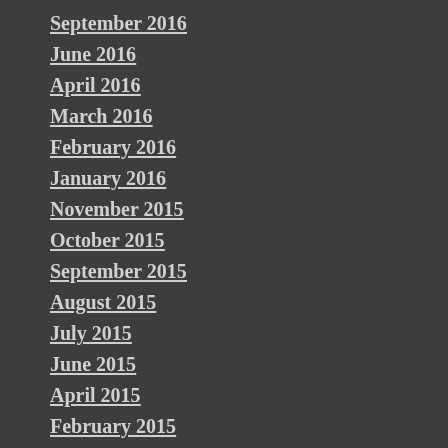September 2016
June 2016
April 2016
March 2016
February 2016
January 2016
November 2015
October 2015
September 2015
August 2015
July 2015
June 2015
April 2015
February 2015
January 2015